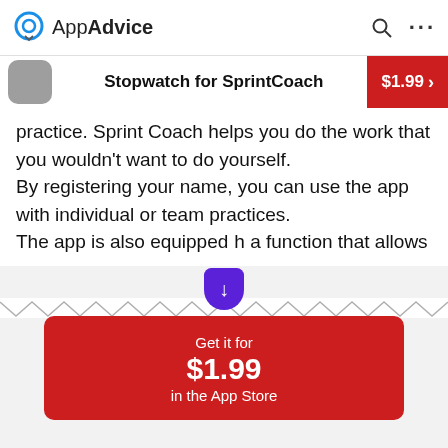AppAdvice
Stopwatch for SprintCoach — $1.99
practice. Sprint Coach helps you do the work that you wouldn't want to do yourself.
By registering your name, you can use the app with individual or team practices.
The app is also equipped with a function that allows
Get it for $1.99 in the App Store